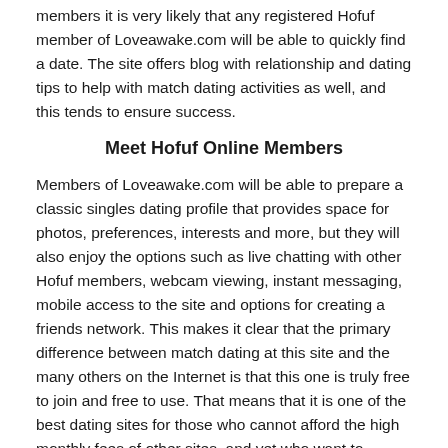members it is very likely that any registered Hofuf member of Loveawake.com will be able to quickly find a date. The site offers blog with relationship and dating tips to help with match dating activities as well, and this tends to ensure success.
Meet Hofuf Online Members
Members of Loveawake.com will be able to prepare a classic singles dating profile that provides space for photos, preferences, interests and more, but they will also enjoy the options such as live chatting with other Hofuf members, webcam viewing, instant messaging, mobile access to the site and options for creating a friends network. This makes it clear that the primary difference between match dating at this site and the many others on the Internet is that this one is truly free to join and free to use. That means that it is one of the best dating sites for those who cannot afford the high monthly fees of other sites, and yet who want to actually communicate and participate in dates on a frequent basis. Loveawake.com also uses a strong search engine to help registered Hofuf members find those nearby or anywhere in the world.
Hofuf Singles Chatrooms | Hofuf Personal Classified Ads | Hofuf